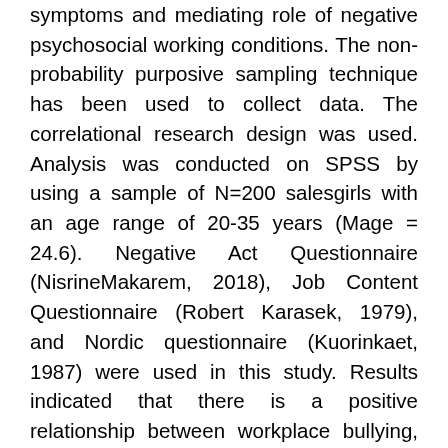symptoms and mediating role of negative psychosocial working conditions. The non-probability purposive sampling technique has been used to collect data. The correlational research design was used. Analysis was conducted on SPSS by using a sample of N=200 salesgirls with an age range of 20-35 years (Mage = 24.6). Negative Act Questionnaire (NisrineMakarem, 2018), Job Content Questionnaire (Robert Karasek, 1979), and Nordic questionnaire (Kuorinkaet, 1987) were used in this study. Results indicated that there is a positive relationship between workplace bullying, negative psychosocial workplace bullying, and musculoskeletal symptoms which means that if workplace bullying is increasing in salesgirls then musculoskeletal symptoms will be increased in salesgirls. Furthermore, workplace bullying and psychosocial negative work conditions are positive significant predictors of musculoskeletal symptoms. Moreover, negative psychosocial working conditions play mediating role in the relationship between workplace bullying and musculoskeletal symptoms. The findings of